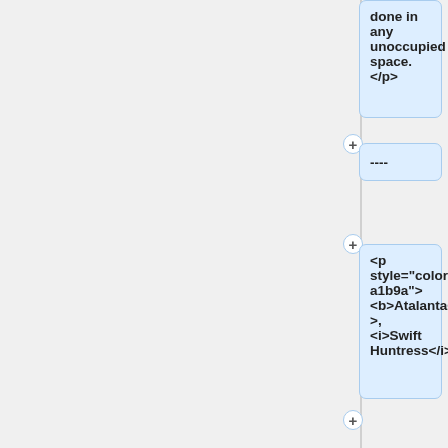done in any unoccupied space.</p>
----
<p style="color:#6a1b9a"> <b>Atalanta</b>, <i>Swift Huntress</i>
<br> <small>Players: 2 &mdash; Hero Power
<br>Banned: Adonis, Circe, Hecate, Persephone</small></p>